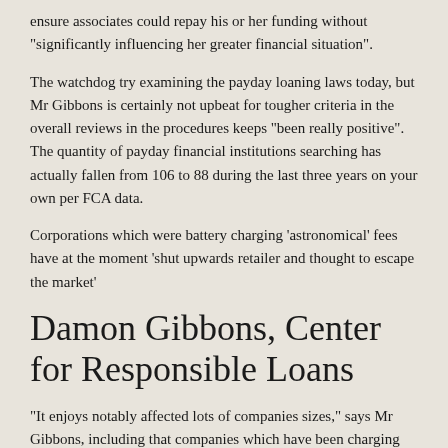ensure associates could repay his or her funding without "significantly influencing her greater financial situation".
The watchdog try examining the payday loaning laws today, but Mr Gibbons is certainly not upbeat for tougher criteria in the overall reviews in the procedures keeps "been really positive". The quantity of payday financial institutions searching has actually fallen from 106 to 88 during the last three years on your own per FCA data.
Corporations which were battery charging ‘astronomical’ fees have at the moment ‘shut upwards retailer and thought to escape the market’
Damon Gibbons, Center for Responsible Loans
“It enjoys notably affected lots of companies sizes,” says Mr Gibbons, including that companies which have been charging you “astro­nomical” fees have finally “shut awake shop and chose to stay away from the market”. The pronounced of those is Wonga, which collapsed just the past year after fighting to conform to powerful market adjustment after 2014, being made to pay out thousands and thousands in settlement.